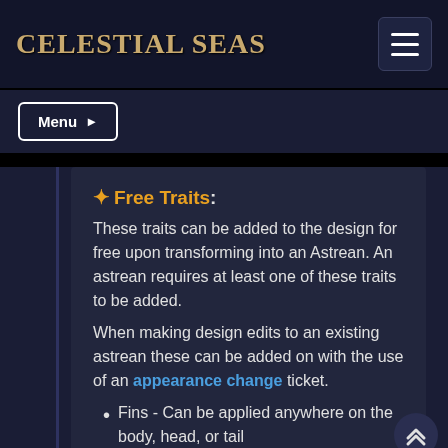CELESTIAL SEAS
Menu
✦ Free Traits:
These traits can be added to the design for free upon transforming into an Astrean. An astrean requires at least one of these traits to be added.
When making design edits to an existing astrean these can be added on with the use of an appearance change ticket.
Fins - Can be applied anywhere on the body, head, or tail
Webbed hands
Scales - Can go over the usual 50% body coverage